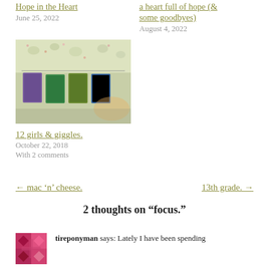Hope in the Heart
June 25, 2022
a heart full of hope (& some goodbyes)
August 4, 2022
[Figure (photo): Photo of colorful cards or artwork hanging on a string under a floral fabric canopy]
12 girls & giggles.
October 22, 2018
With 2 comments
← mac 'n' cheese.
13th grade. →
2 thoughts on “focus.”
tireponyman says: Lately I have been spending